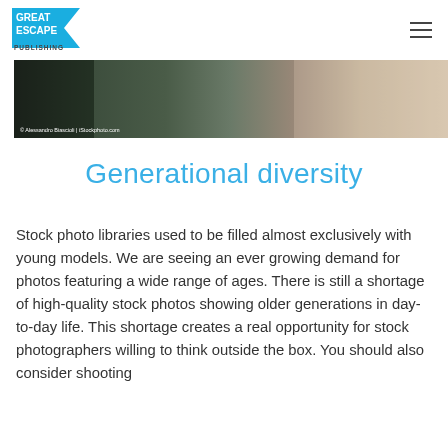Great Escape Publishing
[Figure (photo): Cropped photo strip showing people of different ages, with photo credit: © Alessandro Biascioli | iStockphoto.com]
Generational diversity
Stock photo libraries used to be filled almost exclusively with young models. We are seeing an ever growing demand for photos featuring a wide range of ages. There is still a shortage of high-quality stock photos showing older generations in day-to-day life. This shortage creates a real opportunity for stock photographers willing to think outside the box. You should also consider shooting